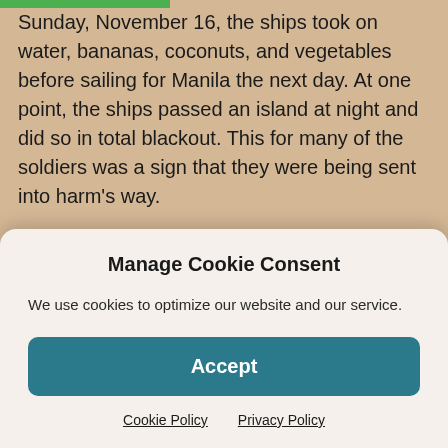Sunday, November 16, the ships took on water, bananas, coconuts, and vegetables before sailing for Manila the next day. At one point, the ships passed an island at night and did so in total blackout. This for many of the soldiers was a sign that they were being sent into harm's way.
The ships entered Manila Bay, at 8:00 A.M., on Thursday, November 20, and docked at Pier 7 later that morning. One thing that was different about their arrival was that instead of a band and a welcoming committee waiting at the pier to tell them to enjoy their stay in the Philippines
Manage Cookie Consent
We use cookies to optimize our website and our service.
Accept
Cookie Policy   Privacy Policy